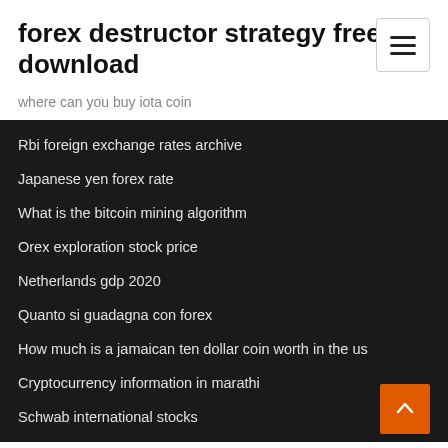forex destructor strategy free download
where can you buy iota coin
Rbi foreign exchange rates archive
Japanese yen forex rate
What is the bitcoin mining algorithm
Orex exploration stock price
Netherlands gdp 2020
Quanto si guadagna con forex
How much is a jamaican ten dollar coin worth in the us
Cryptocurrency information in marathi
Schwab international stocks